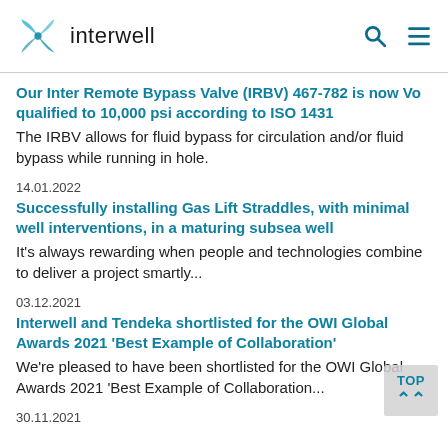[Figure (logo): Interwell company logo with teal spiral icon and 'interwell' text, plus search and menu icons on the right]
Our Inter Remote Bypass Valve (IRBV) 467-782 is now Vo qualified to 10,000 psi according to ISO 1431
The IRBV allows for fluid bypass for circulation and/or fluid bypass while running in hole.
14.01.2022
Successfully installing Gas Lift Straddles, with minimal well interventions, in a maturing subsea well
It's always rewarding when people and technologies combine to deliver a project smartly...
03.12.2021
Interwell and Tendeka shortlisted for the OWI Global Awards 2021 'Best Example of Collaboration'
We're pleased to have been shortlisted for the OWI Global Awards 2021 'Best Example of Collaboration...
30.11.2021